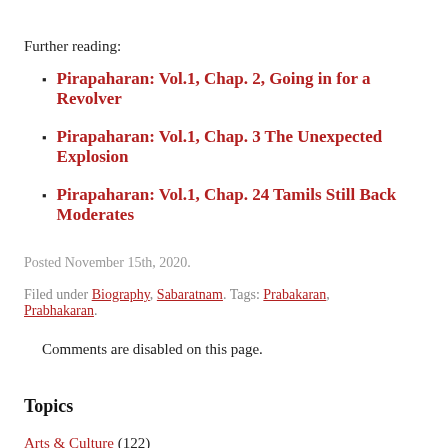Further reading:
Pirapaharan: Vol.1, Chap. 2, Going in for a Revolver
Pirapaharan: Vol.1, Chap. 3 The Unexpected Explosion
Pirapaharan: Vol.1, Chap. 24 Tamils Still Back Moderates
Posted November 15th, 2020.
Filed under Biography, Sabaratnam. Tags: Prabakaran, Prabhakaran.
Comments are disabled on this page.
Topics
Arts & Culture (122)
Biography (149)
Book Reviews (162)